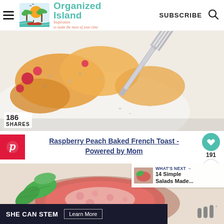Organized Island — Inspiration to make the most of your time | SUBSCRIBE
[Figure (photo): Close-up photo of Raspberry Peach Baked French Toast with a fork, showing golden peach slices and red raspberries on a white plate, water droplets visible]
186
SHARES
Raspberry Peach Baked French Toast - Powered by Mom
191
[Figure (photo): Close-up photo of a raspberry/grapefruit dish with fresh green basil leaves on a plate]
WHAT'S NEXT → 14 Simple Salads Made...
SHE CAN STEM   Learn More